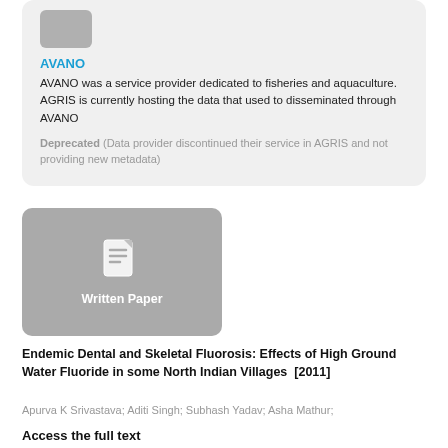AVANO
AVANO was a service provider dedicated to fisheries and aquaculture. AGRIS is currently hosting the data that used to disseminated through AVANO
Deprecated (Data provider discontinued their service in AGRIS and not providing new metadata)
[Figure (illustration): Written Paper thumbnail with document icon and label]
Endemic Dental and Skeletal Fluorosis: Effects of High Ground Water Fluoride in some North Indian Villages  [2011]
Apurva K Srivastava; Aditi Singh; Subhash Yadav; Asha Mathur;
Access the full text
NOT AVAILABLE